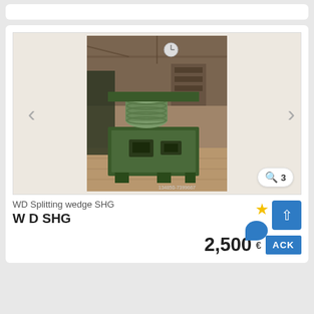[Figure (photo): Green industrial WD Splitting wedge SHG machine photographed in a warehouse/workshop setting. The machine is green colored with cylindrical components on top. A clock is visible on the wall in the background. Photo ID: 134850-7399667]
WD Splitting wedge SHG
W D  SHG
2,500 €